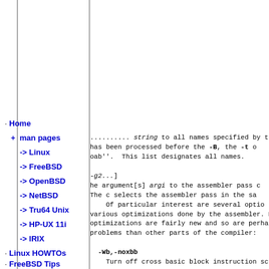Home
+ man pages
-> Linux
-> FreeBSD
-> OpenBSD
-> NetBSD
-> Tru64 Unix
-> HP-UX 11i
-> IRIX
Linux HOWTOs
FreeBSD Tips
*niX Forums
string to all names specified by the -t op
has been processed before the -B, the -t o
bab''.  This list designates all names.

-g2...]
he argument[s] argi to the assembler pass c
The c selects the assembler pass in the sa
  Of particular interest are several optio
various optimizations done by the assembler. Most
optimizations are fairly new and so are perhaps m
problems than other parts of the compiler:

  -Wb,-noxbb
      Turn off cross basic block instruction sched

  -Wb,-nopeep
      Turn off peephole optimizations.